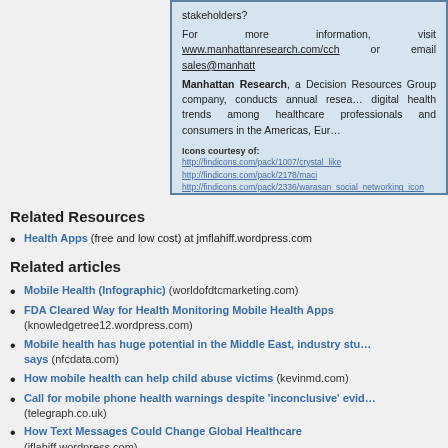stakeholders?
For more information, visit www.manhattanresearch.com/cch or email sales@manhatt…
Manhattan Research, a Decision Resources Group company, conducts annual research on digital health trends among healthcare professionals and consumers in the Americas, Eur…
Icons courtesy of: http://findicons.com/pack/1007/crystal_like http://findicons.com/pack/2178/maci http://findicons.com/pack/2336/warasan_social_networking_icon http://findicons.com/pack/284/mobile_deucs http://findicons.com/pack/280/hardworms
Related Resources
Health Apps (free and low cost) at jmflahiff.wordpress.com
Related articles
Mobile Health (Infographic) (worldofdtcmarketing.com)
FDA Cleared Way for Health Monitoring Mobile Health Apps (knowledgetree12.wordpress.com)
Mobile health has huge potential in the Middle East, industry study says (nfcdata.com)
How mobile health can help child abuse victims (kevinmd.com)
Call for mobile phone health warnings despite 'inconclusive' evidence (telegraph.co.uk)
How Text Messages Could Change Global Healthcare (jflahiff.wordpress.com)